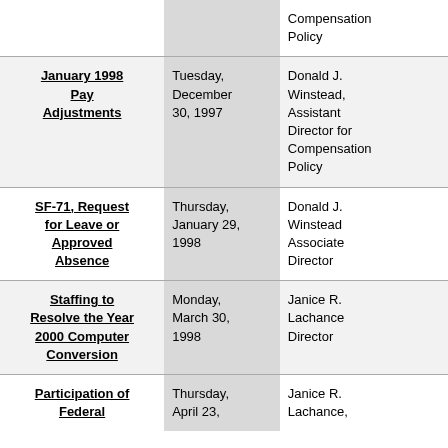| Subject | Date | Author |
| --- | --- | --- |
| [continued] |  | Compensation Policy |
| January 1998 Pay Adjustments | Tuesday, December 30, 1997 | Donald J. Winstead, Assistant Director for Compensation Policy |
| SF-71, Request for Leave or Approved Absence | Thursday, January 29, 1998 | Donald J. Winstead Associate Director |
| Staffing to Resolve the Year 2000 Computer Conversion | Monday, March 30, 1998 | Janice R. Lachance Director |
| Participation of Federal | Thursday, April 23, | Janice R. Lachance, |